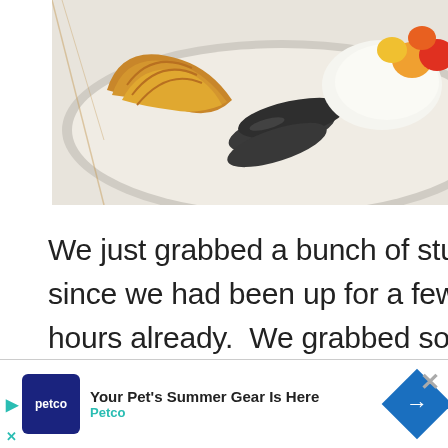[Figure (photo): Breakfast plate with a croissant, black sausages/links, scrambled eggs or cream, and colorful fruit pieces on a white plate]
We just grabbed a bunch of stuff since we had been up for a few hours already.  We grabbed some of the same things we had before, like the eggs, bacon
[Figure (infographic): Heart/like button (teal circle with heart icon), count of 1, and share button (circle with share icon)]
[Figure (screenshot): WHAT'S NEXT arrow label with thumbnail and text 'Our 2015 Vision of the...']
[Figure (other): Advertisement banner: Petco 'Your Pet's Summer Gear Is Here' with Petco logo and blue diamond arrow icon]